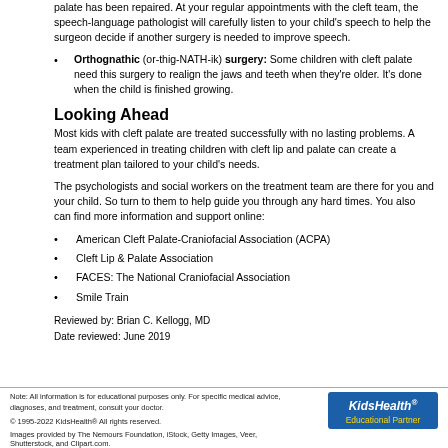palate has been repaired. At your regular appointments with the cleft team, the speech-language pathologist will carefully listen to your child's speech to help the surgeon decide if another surgery is needed to improve speech.
Orthognathic (or-thig-NATH-ik) surgery: Some children with cleft palate need this surgery to realign the jaws and teeth when they're older. It's done when the child is finished growing.
Looking Ahead
Most kids with cleft palate are treated successfully with no lasting problems. A team experienced in treating children with cleft lip and palate can create a treatment plan tailored to your child's needs.
The psychologists and social workers on the treatment team are there for you and your child. So turn to them to help guide you through any hard times. You also can find more information and support online:
American Cleft Palate-Craniofacial Association (ACPA)
Cleft Lip & Palate Association
FACES: The National Craniofacial Association
Smile Train
Reviewed by: Brian C. Kellogg, MD
Date reviewed: June 2019
Note: All information is for educational purposes only. For specific medical advice, diagnoses, and treatment, consult your doctor.
© 1995-2022 KidsHealth® All rights reserved.
Images provided by The Nemours Foundation, iStock, Getty Images, Veer, Shutterstock, and Clipart.com.